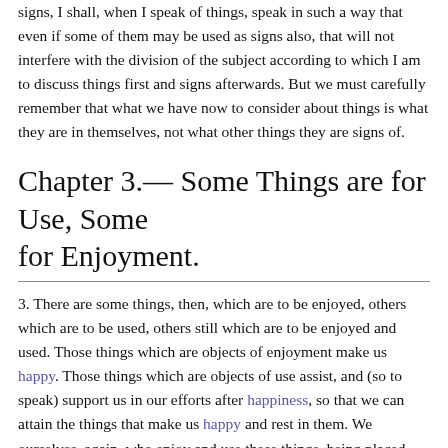signs, I shall, when I speak of things, speak in such a way that even if some of them may be used as signs also, that will not interfere with the division of the subject according to which I am to discuss things first and signs afterwards. But we must carefully remember that what we have now to consider about things is what they are in themselves, not what other things they are signs of.
Chapter 3.— Some Things are for Use, Some for Enjoyment.
3. There are some things, then, which are to be enjoyed, others which are to be used, others still which are to be enjoyed and used. Those things which are objects of enjoyment make us happy. Those things which are objects of use assist, and (so to speak) support us in our efforts after happiness, so that we can attain the things that make us happy and rest in them. We ourselves, again, who enjoy and use these things, being placed